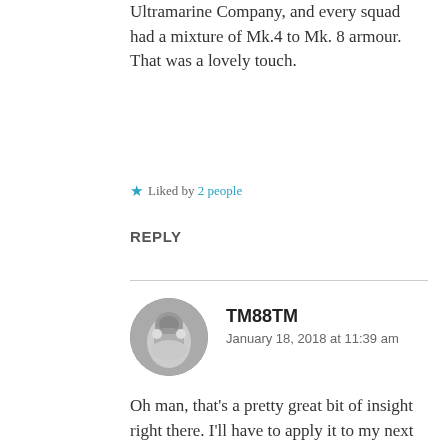Ultramarine Company, and every squad had a mixture of Mk.4 to Mk. 8 armour. That was a lovely touch.
Liked by 2 people
REPLY
TM88TM
January 18, 2018 at 11:39 am
[Figure (photo): Circular avatar image of a Warhammer 40K space marine figure in grey/silver armor]
Oh man, that’s a pretty great bit of insight right there. I’ll have to apply it to my next marine army (night lords) and see how I go.
Like